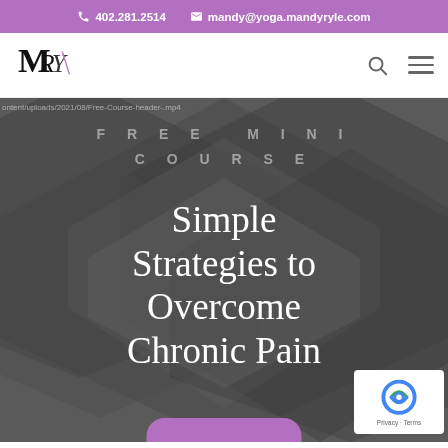📞 402.281.2514   ✉ mandy@yoga.mandyryle.com
[Figure (logo): MRY yoga logo — stylized letters M, R, Y in black script with color accent]
ontent/uploads/2021/08/Free-Course-header-.mp4
FREE MINI COURSE
Simple Strategies to Overcome Chronic Pain
[Figure (other): Google reCAPTCHA badge — blue reCAPTCHA logo with Privacy - Terms text]